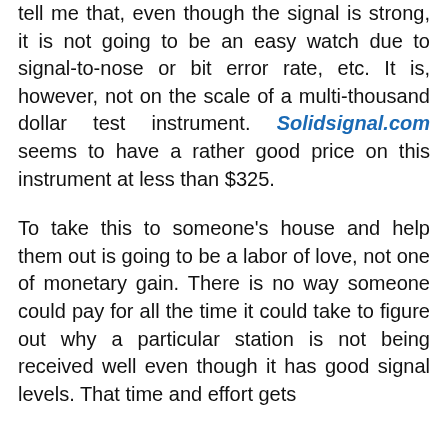tell me that, even though the signal is strong, it is not going to be an easy watch due to signal-to-nose or bit error rate, etc. It is, however, not on the scale of a multi-thousand dollar test instrument. Solidsignal.com seems to have a rather good price on this instrument at less than $325.
To take this to someone's house and help them out is going to be a labor of love, not one of monetary gain. There is no way someone could pay for all the time it could take to figure out why a particular station is not being received well even though it has good signal levels. That time and effort gets multiplied by the number of difficult stations the average user is to receive reliably.
Those of us trying to fix these things and figure things out can only advise you so far. The proof is
We use cookies to ensure that we give you the best experience on our website. If you continue to use this site we will assume that you are happy with it.